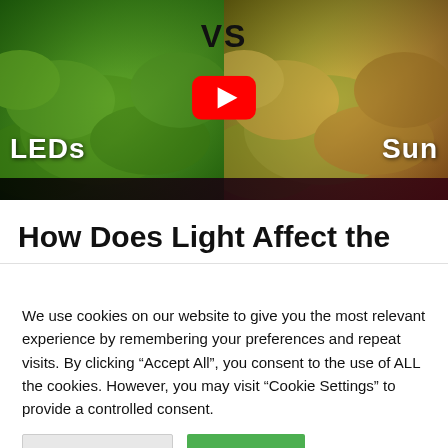[Figure (screenshot): YouTube video thumbnail split-screen showing hydroponic lettuce grown under LEDs on the left vs grown in sunlight on the right, with 'VS' text at top center and a YouTube play button in the middle. Green bar at top.]
How Does Light Affect the
We use cookies on our website to give you the most relevant experience by remembering your preferences and repeat visits. By clicking “Accept All”, you consent to the use of ALL the cookies. However, you may visit “Cookie Settings” to provide a controlled consent.
Cookie Settings   Accept All